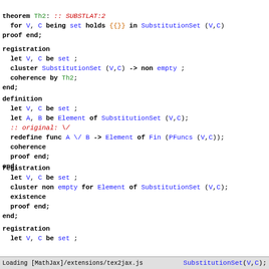theorem Th2: :: SUBSTLAT:2
  for V, C being set holds {{}} in SubstitutionSet (V,C)
proof end;
registration
  let V, C be set ;
  cluster SubstitutionSet (V,C) -> non empty ;
  coherence by Th2;
end;
definition
  let V, C be set ;
  let A, B be Element of SubstitutionSet (V,C);
  :: original: \/
  redefine func A \/ B -> Element of Fin (PFuncs (V,C));
  coherence
  proof end;
end;
registration
  let V, C be set ;
  cluster non empty for Element of SubstitutionSet (V,C);
  existence
  proof end;
end;
registration
  let V, C be set ;
Loading [MathJax]/extensions/tex2jax.js